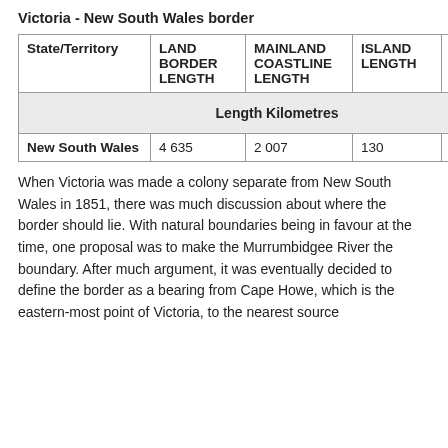Victoria - New South Wales border
| State/Territory | LAND BORDER LENGTH | MAINLAND COASTLINE LENGTH | ISLAND LENGTH | TOTAL COASTLINE LENGTH |
| --- | --- | --- | --- | --- |
| Length Kilometres |  |  |  |  |
| New South Wales | 4 635 | 2 007 | 130 | 2 137 |
When Victoria was made a colony separate from New South Wales in 1851, there was much discussion about where the border should lie. With natural boundaries being in favour at the time, one proposal was to make the Murrumbidgee River the boundary. After much argument, it was eventually decided to define the border as a bearing from Cape Howe, which is the eastern-most point of Victoria, to the nearest source